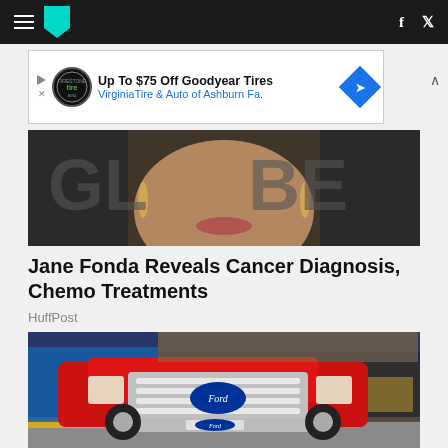HuffPost navigation bar with hamburger menu, logo, Facebook and Twitter icons
[Figure (photo): Advertisement banner: Up To $75 Off Goodyear Tires - Virginia Tire & Auto of Ashburn Fa.]
[Figure (photo): Partial photo of a woman's face showing lips and earrings against a dark background with partial text]
Jane Fonda Reveals Cancer Diagnosis, Chemo Treatments
HuffPost
[Figure (photo): Red Ford F-150 pickup truck on display at an auto show with blue background and chrome grille prominently visible]